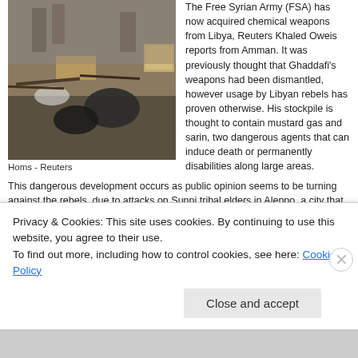[Figure (photo): Photograph of weapons, gas masks, and equipment laid out on tables indoors, with people in background. Homs - Reuters]
Homs - Reuters
The Free Syrian Army (FSA) has now acquired chemical weapons from Libya, Reuters Khaled Oweis reports from Amman. It was previously thought that Ghaddafi's weapons had been dismantled, however usage by Libyan rebels has proven otherwise. His stockpile is thought to contain mustard gas and sarin, two dangerous agents that can induce death or permanently disabilities along large areas.
This dangerous development occurs as public opinion seems to be turning against the rebels, due to attacks on Sunni tribal elders in Aleppo, a city that has been the stronghold of support for the government. The rebels earlier promised to turn the city into the "grave of the tribes" according to one rebel leader,
a reprisal against the Berri clan that has been actively fighting them alongside government forces.
Photographs from Aleppo seem to show rebels donning chemical weapons mask, others showing others in fresh unopened packaging, such as the M-42A1 gas mask. It is unlikely that li...
Privacy & Cookies: This site uses cookies. By continuing to use this website, you agree to their use.
To find out more, including how to control cookies, see here: Cookie Policy
Close and accept